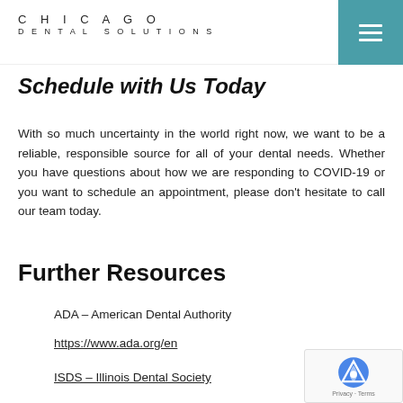CHICAGO DENTAL SOLUTIONS
Schedule with Us Today
With so much uncertainty in the world right now, we want to be a reliable, responsible source for all of your dental needs. Whether you have questions about how we are responding to COVID-19 or you want to schedule an appointment, please don't hesitate to call our team today.
Further Resources
ADA – American Dental Authority
https://www.ada.org/en
ISDS – Illinois Dental Society